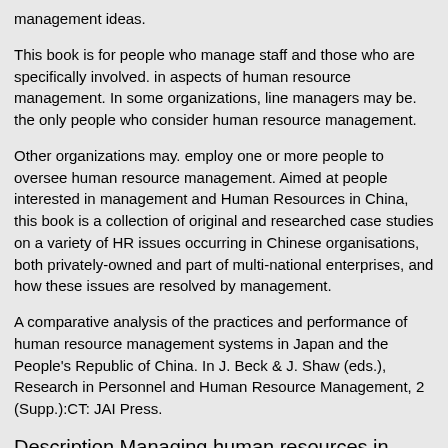management ideas.
This book is for people who manage staff and those who are specifically involved. in aspects of human resource management. In some organizations, line managers may be. the only people who consider human resource management.
Other organizations may. employ one or more people to oversee human resource management. Aimed at people interested in management and Human Resources in China, this book is a collection of original and researched case studies on a variety of HR issues occurring in Chinese organisations, both privately-owned and part of multi-national enterprises, and how these issues are resolved by management.
A comparative analysis of the practices and performance of human resource management systems in Japan and the People's Republic of China. In J. Beck & J. Shaw (eds.), Research in Personnel and Human Resource Management, 2 (Supp.):CT: JAI Press.
Description Managing human resources in China EPUB
Human Resources Managoment in China by Got Human